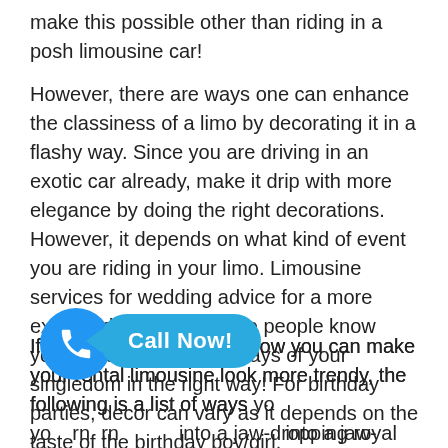make this possible other than riding in a posh limousine car!
However, there are ways one can enhance the classiness of a limo by decorating it in a flashy way. Since you are driving in an exotic car already, make it drip with more elegance by doing the right decorations. However, it depends on what kind of event you are riding in your limo. Limousine services for wedding advice for a more extra and colorful look, so people know you're marking the end days of your singledom in the right way! For birthday parties, decor can vary as it depends on the taste of the birthday boy/girl.
If you're confused about how you can make your rental limousine look more trendy, the following is a list of ways you can turn your limo into a jaw-dropping royal veh...
[Figure (infographic): A blue circular call button with a phone icon, and a blue rounded rectangle speech bubble with 'Call Now!' text in white]